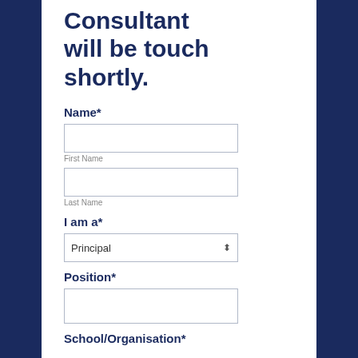Consultant will be touch shortly.
Name*
First Name
Last Name
I am a*
Principal
Position*
School/Organisation*